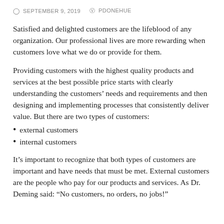SEPTEMBER 9, 2019   PDONEHUE
Satisfied and delighted customers are the lifeblood of any organization. Our professional lives are more rewarding when customers love what we do or provide for them.
Providing customers with the highest quality products and services at the best possible price starts with clearly understanding the customers’ needs and requirements and then designing and implementing processes that consistently deliver value. But there are two types of customers:
external customers
internal customers
It’s important to recognize that both types of customers are important and have needs that must be met. External customers are the people who pay for our products and services. As Dr. Deming said: “No customers, no orders, no jobs!”